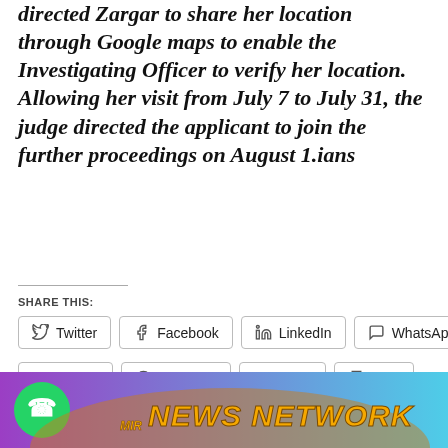directed Zargar to share her location through Google maps to enable the Investigating Officer to verify her location. Allowing her visit from July 7 to July 31, the judge directed the applicant to join the further proceedings on August 1.ians
SHARE THIS:
Twitter
Facebook
LinkedIn
WhatsApp
Tumblr
Telegram
Email
Print
DELHI RIOTS: COURT ALLOWS SAFOORA ZARGAR TO VISIT KASHMIR FOR EID
[Figure (logo): Kashmir News Network banner with WhatsApp icon and orange stylized text on purple-teal gradient background]